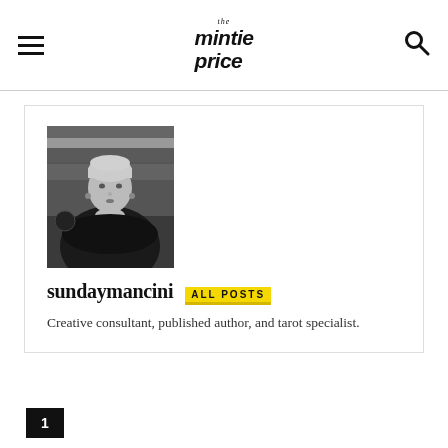The Mintie Price
[Figure (photo): Black and white portrait photo of Sunday Mancini, a person with short light hair wearing a dark fur or feathered wrap, hands clasped under chin, posed against a wooden background with a lamp]
sundaymancini  ALL POSTS
Creative consultant, published author, and tarot specialist.
1